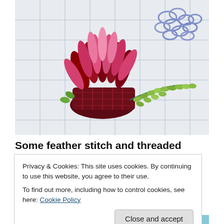[Figure (photo): Close-up photograph of embroidery on white fabric with blue grid lines. Shows a basket shape in dark red/maroon ribbon work with pink and red ribbon petals forming flowers above it. Upper right corner has blue loopy chain stitch forming a cluster. Lower right has green leaf/lazy daisy stitches with teal threaded chain stitch seaweed.]
Some feather stitch and threaded chain stitch seaweed
Privacy & Cookies: This site uses cookies. By continuing to use this website, you agree to their use.
To find out more, including how to control cookies, see here: Cookie Policy
[Figure (photo): Partial view of another embroidery photo at the bottom of the page, showing blue/teal fabric.]